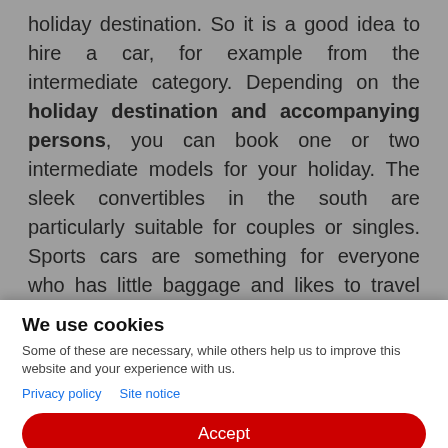holiday destination. So it is a good idea to hire a car, for example from the intermediate category. Depending on the holiday destination and accompanying persons, you can book one or two intermediate models for your holiday. The sleek convertibles in the south are particularly suitable for couples or singles. Sports cars are something for everyone who has little baggage and likes to travel fast. The limousine is comfortable and can accommodate up to five people and the station wagon has plenty of space for baggage. If it goes into the mountains or to an island with often impassable terrain, then an SUV or off-road vehicle
We use cookies
Some of these are necessary, while others help us to improve this website and your experience with us.
Privacy policy   Site notice
Accept
Settings